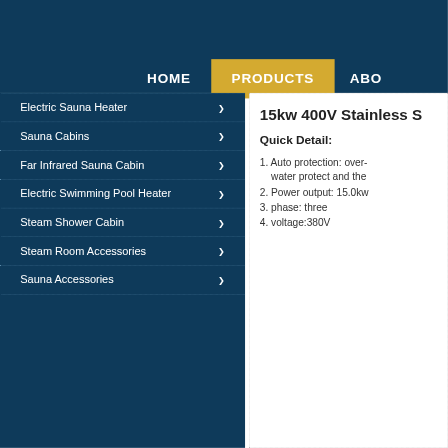HOME | PRODUCTS | ABO
Electric Sauna Heater
Sauna Cabins
Far Infrared Sauna Cabin
Electric Swimming Pool Heater
Steam Shower Cabin
Steam Room Accessories
Sauna Accessories
15kw 400V Stainless S
Quick Detail:
1. Auto protection: over- water protect and the
2. Power output: 15.0kw
3. phase: three
4. voltage:380V